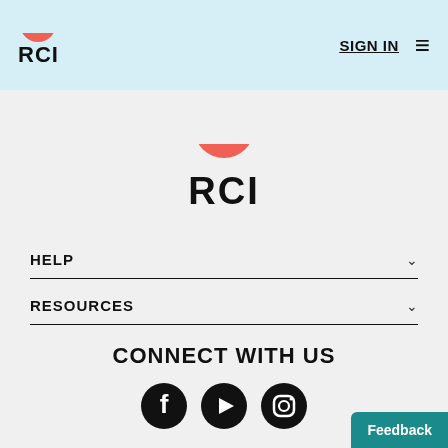RCI — SIGN IN — menu
[Figure (logo): RCI logo with salmon/coral bowl shape above bold RCI text, centered on page]
HELP
RESOURCES
CONNECT WITH US
[Figure (other): Social media icons: Facebook, YouTube, Instagram]
Feedback